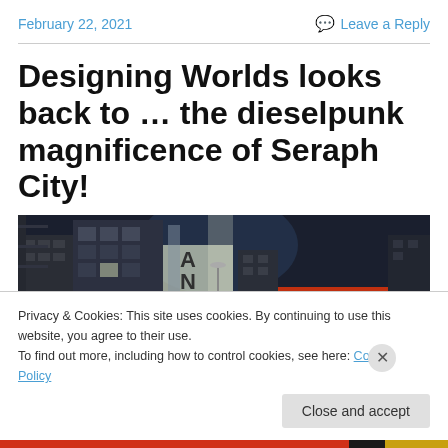February 22, 2021    Leave a Reply
Designing Worlds looks back to … the dieselpunk magnificence of Seraph City!
[Figure (photo): Dieselpunk cityscape showing dark urban buildings with neon signs, set at night, from the virtual world Seraph City]
Privacy & Cookies: This site uses cookies. By continuing to use this website, you agree to their use.
To find out more, including how to control cookies, see here: Cookie Policy
Close and accept